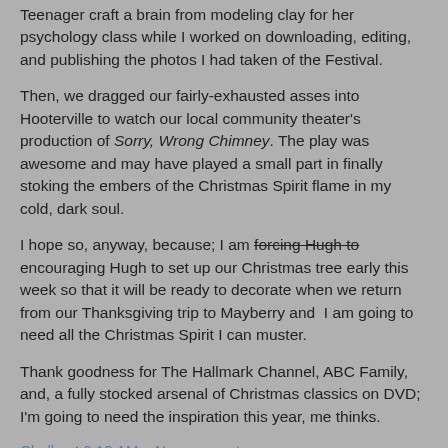Teenager craft a brain from modeling clay for her psychology class while I worked on downloading, editing, and publishing the photos I had taken of the Festival.
Then, we dragged our fairly-exhausted asses into Hooterville to watch our local community theater's production of Sorry, Wrong Chimney. The play was awesome and may have played a small part in finally stoking the embers of the Christmas Spirit flame in my cold, dark soul.
I hope so, anyway, because; I am [strikethrough: forcing Hugh to] encouraging Hugh to set up our Christmas tree early this week so that it will be ready to decorate when we return from our Thanksgiving trip to Mayberry and  I am going to need all the Christmas Spirit I can muster.
Thank goodness for The Hallmark Channel, ABC Family, and, a fully stocked arsenal of Christmas classics on DVD; I'm going to need the inspiration this year, me thinks.
Chelle at 9:12 AM    No comments: